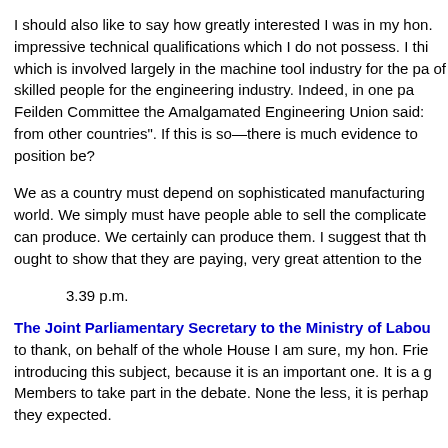I should also like to say how greatly interested I was in my hon. impressive technical qualifications which I do not possess. I thi which is involved largely in the machine tool industry for the pa of skilled people for the engineering industry. Indeed, in one pa Feilden Committee the Amalgamated Engineering Union said: from other countries". If this is so—there is much evidence to position be?
We as a country must depend on sophisticated manufacturing world. We simply must have people able to sell the complicate can produce. We certainly can produce them. I suggest that th ought to show that they are paying, very great attention to the
3.39 p.m.
The Joint Parliamentary Secretary to the Ministry of Labou to thank, on behalf of the whole House I am sure, my hon. Frie introducing this subject, because it is an important one. It is a g Members to take part in the debate. None the less, it is perhap they expected.